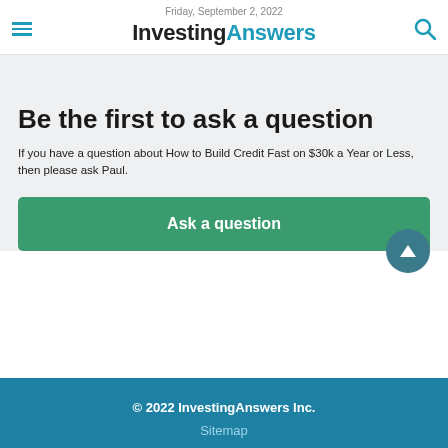Friday, September 2, 2022
InvestingAnswers
Be the first to ask a question
If you have a question about How to Build Credit Fast on $30k a Year or Less, then please ask Paul.
Ask a question
© 2022 InvestingAnswers Inc.
Sitemap